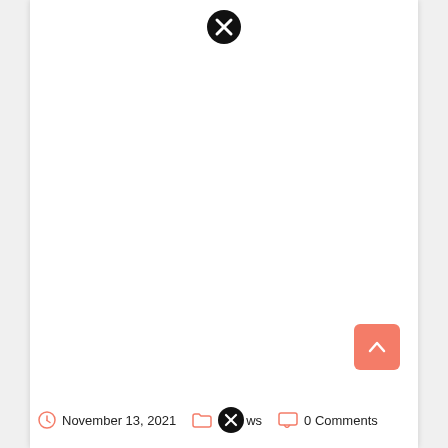[Figure (other): Close/dismiss button icon (black circle with white X) at top center of page]
[Figure (other): Scroll-to-top button (salmon/coral rounded square with white upward arrow) at bottom right]
November 13, 2021   news   0 Comments